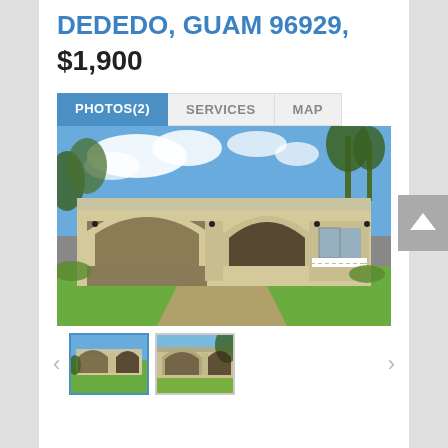DEDEDO, GUAM 96929, $1,900
[Figure (screenshot): Real estate listing page showing a house in Dededo, Guam with PHOTOS(2), SERVICES, MAP tabs, a main photo of a beige stucco house with arched carport and green lawn, and two thumbnail images below with navigation arrows.]
[Figure (photo): Main listing photo: beige stucco single-story house with three arched openings (carport and porch), white railing, green lawn, blue sky with clouds, palm trees in background.]